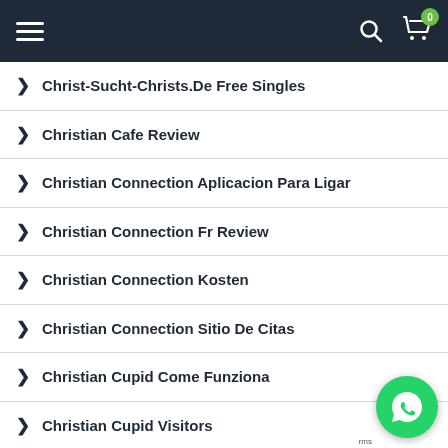Navigation menu header with hamburger, search, and cart icons
Christ-Sucht-Christs.De Free Singles
Christian Cafe Review
Christian Connection Aplicacion Para Ligar
Christian Connection Fr Review
Christian Connection Kosten
Christian Connection Sitio De Citas
Christian Cupid Come Funziona
Christian Cupid Visitors
Christian Dating Review (partial)